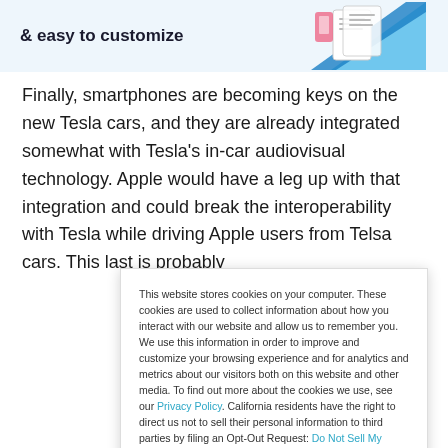[Figure (illustration): Top banner with text '& easy to customize' and decorative image of documents/phone on light blue background]
Finally, smartphones are becoming keys on the new Tesla cars, and they are already integrated somewhat with Tesla's in-car audiovisual technology. Apple would have a leg up with that integration and could break the interoperability with Tesla while driving Apple users from Telsa cars. This last is probably
This website stores cookies on your computer. These cookies are used to collect information about how you interact with our website and allow us to remember you. We use this information in order to improve and customize your browsing experience and for analytics and metrics about our visitors both on this website and other media. To find out more about the cookies we use, see our Privacy Policy. California residents have the right to direct us not to sell their personal information to third parties by filing an Opt-Out Request: Do Not Sell My Personal Info.
Accept